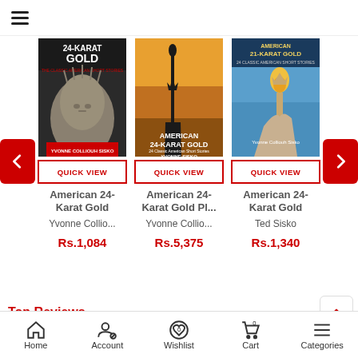[Figure (screenshot): Hamburger menu icon (three horizontal lines) in top navigation bar]
[Figure (screenshot): Book cover: American 24-Karat Gold, black and white photo of Statue of Liberty close-up face]
QUICK VIEW
American 24-
Karat Gold
Yvonne Collio...
Rs.1,084
[Figure (screenshot): Book cover: American 24-Karat Gold, orange/sunset Statue of Liberty silhouette]
QUICK VIEW
American 24-
Karat Gold Pl...
Yvonne Collio...
Rs.5,375
[Figure (screenshot): Book cover: American 24-Karat Gold, blue sky with Statue of Liberty torch]
QUICK VIEW
American 24-
Karat Gold
Ted Sisko
Rs.1,340
Top Reviews
Be the first to write a review on this book American 24-Karat
Home  Account  Wishlist 0  Cart 0  Categories